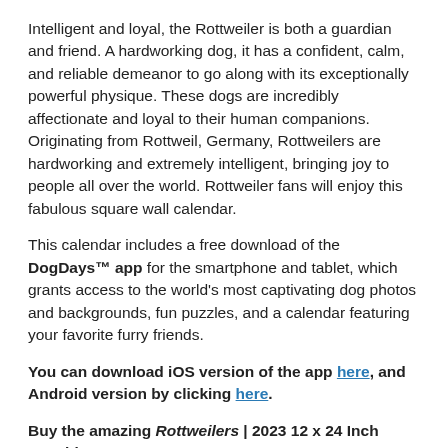Intelligent and loyal, the Rottweiler is both a guardian and friend. A hardworking dog, it has a confident, calm, and reliable demeanor to go along with its exceptionally powerful physique. These dogs are incredibly affectionate and loyal to their human companions. Originating from Rottweil, Germany, Rottweilers are hardworking and extremely intelligent, bringing joy to people all over the world. Rottweiler fans will enjoy this fabulous square wall calendar.
This calendar includes a free download of the DogDays™ app for the smartphone and tablet, which grants access to the world's most captivating dog photos and backgrounds, fun puzzles, and a calendar featuring your favorite furry friends.
You can download iOS version of the app here, and Android version by clicking here.
Buy the amazing Rottweilers | 2023 12 x 24 Inch Monthly